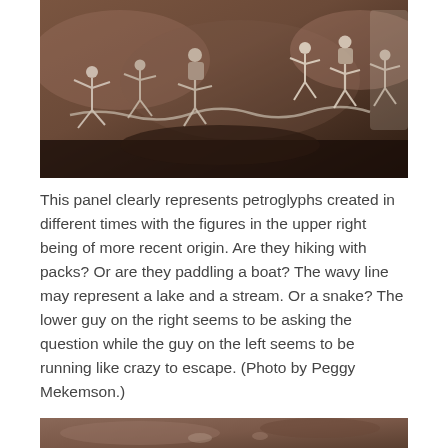[Figure (photo): A photograph of a rock panel covered with petroglyphs. Ancient human figures are visible etched or painted in lighter color against a dark brownish-red rock surface. Multiple figures appear to be in motion; some appear to be hiking with packs. A wavy line is visible on the rock surface.]
This panel clearly represents petroglyphs created in different times with the figures in the upper right being of more recent origin. Are they hiking with packs? Or are they paddling a boat? The wavy line may represent a lake and a stream. Or a snake? The lower guy on the right seems to be asking the question while the guy on the left seems to be running like crazy to escape. (Photo by Peggy Mekemson.)
[Figure (photo): Partial view of another rock surface with petroglyphs, cropped at the bottom of the page.]